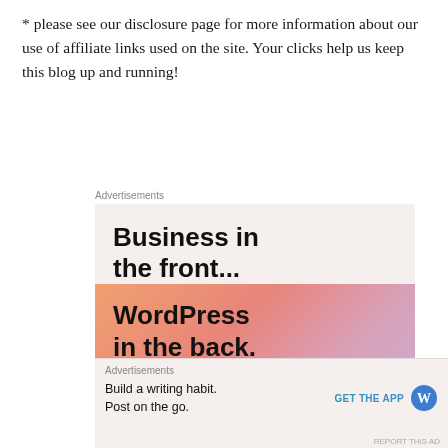* please see our disclosure page for more information about our use of affiliate links used on the site. Your clicks help us keep this blog up and running!
[Figure (screenshot): Advertisement banner: top half shows 'Business in the front...' text on light background; bottom half shows 'WordPress in the back.' text on orange/pink gradient background with WordPress logo and a button partially visible.]
[Figure (screenshot): Bottom advertisement bar: 'Build a writing habit. Post on the go.' with 'GET THE APP' link and WordPress logo icon.]